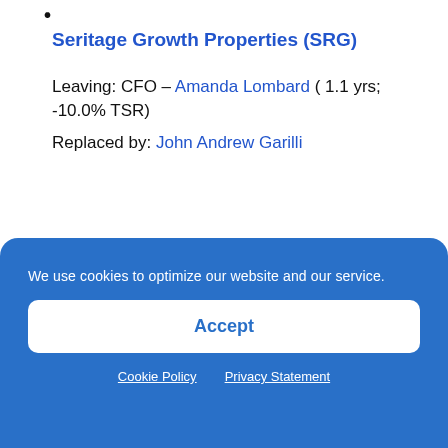Seritage Growth Properties (SRG)
Leaving: CFO – Amanda Lombard ( 1.1 yrs; -10.0% TSR)
Replaced by: John Andrew Garilli
Mr. Garilli is a veteran public company executive with more than 15 years of experience in real estate leadership roles. Mr. Garilli has been a member of Winthrop
We use cookies to optimize our website and our service.
Accept
Cookie Policy  Privacy Statement